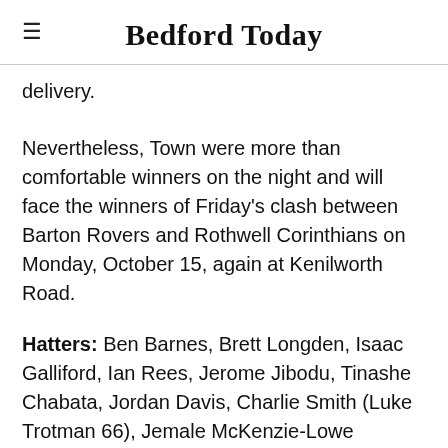Bedford Today
delivery.
Nevertheless, Town were more than comfortable winners on the night and will face the winners of Friday's clash between Barton Rovers and Rothwell Corinthians on Monday, October 15, again at Kenilworth Road.
Hatters: Ben Barnes, Brett Longden, Isaac Galliford, Ian Rees, Jerome Jibodu, Tinashe Chabata, Jordan Davis, Charlie Smith (Luke Trotman 66), Jemale McKenzie-Lowe (Devante